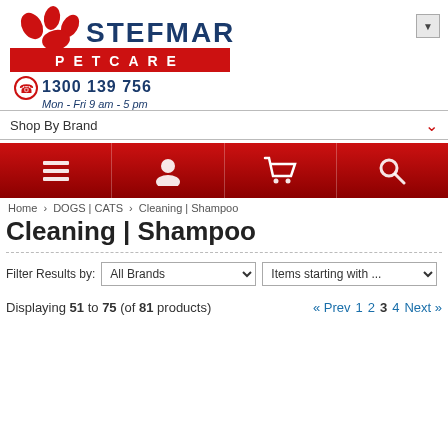[Figure (logo): Stefmar Petcare logo with paw prints, red PETCARE bar, phone number 1300 139 756 and hours Mon-Fri 9am-5pm]
[Figure (screenshot): Shop By Brand dropdown selector with red chevron]
[Figure (screenshot): Red navigation bar with four icons: menu list, user/account, shopping cart, search]
Home > DOGS | CATS > Cleaning | Shampoo
Cleaning | Shampoo
Filter Results by: [All Brands dropdown] [Items starting with ... dropdown]
Displaying 51 to 75 (of 81 products)
« Prev  1  2  3  4  Next »